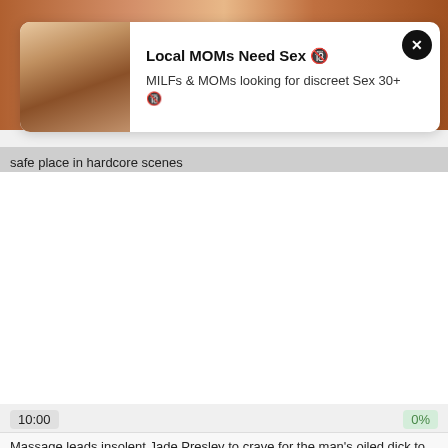[Figure (screenshot): Top portion of a video streaming webpage showing a video thumbnail at the top, an ad overlay popup with a woman's photo, bold title 'Local MOMs Need Sex' with emoji, subtitle 'MILFs & MOMs looking for discreet Sex 30+' with emoji, close button X, a caption bar reading 'safe place in hardcore scenes', a white content area, a bottom progress bar showing '10:00' and '0%', and a partial video description.]
Local MOMs Need Sex 🔞
MILFs & MOMs looking for discreet Sex 30+ 🔞
safe place in hardcore scenes
10:00
0%
Massage leads insolent Jade Presley to crave for the man's oiled dick to